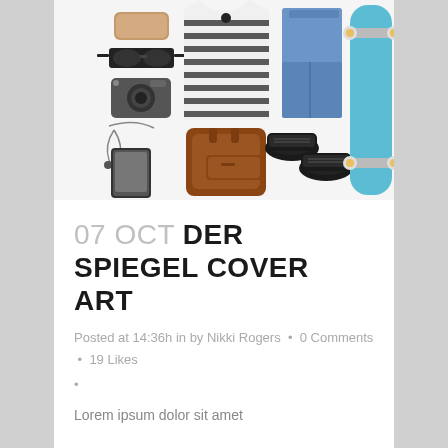[Figure (photo): Flat lay / knolling photo of lifestyle items arranged on white background: sunglasses case, sunglasses, camera, earphones with phone, striped t-shirt, brown leather backpack, black sneakers, jeans, and blue skateboard]
07 OCT DER SPIEGEL COVER ART
Posted at 14:36h in by Nikki Rogers • 0 Comments • 19 Likes •
Lorem ipsum dolor sit amet